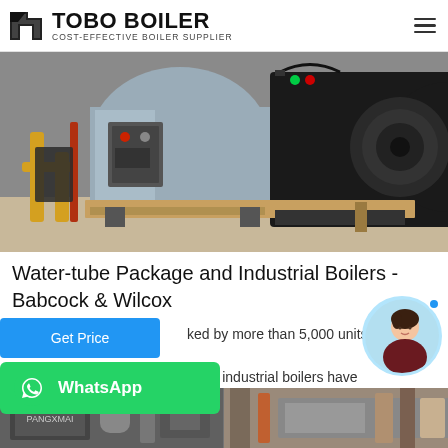TOBO BOILER - COST-EFFECTIVE BOILER SUPPLIER
[Figure (photo): Industrial water-tube boiler installation with yellow pipes and control panel]
Water-tube Package and Industrial Boilers - Babcock & Wilcox
...ked by more than 5,000 units and 150 y... B&W's water-tube package and industrial boilers have ...or reliability and proven performance. ...et unique capacity, space, fuel,...
[Figure (photo): Bottom strip photos of industrial boiler equipment and installations]